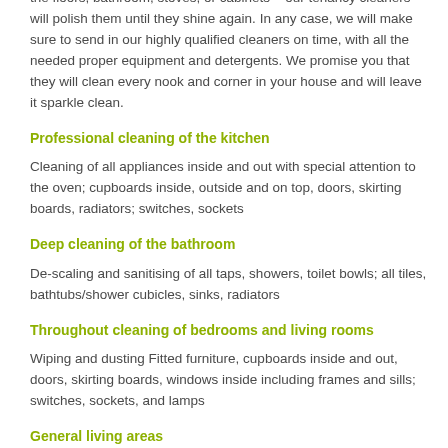the floors, bathroom, stoves, or cabinets – our tenancy cleaners will polish them until they shine again. In any case, we will make sure to send in our highly qualified cleaners on time, with all the needed proper equipment and detergents. We promise you that they will clean every nook and corner in your house and will leave it sparkle clean.
Professional cleaning of the kitchen
Cleaning of all appliances inside and out with special attention to the oven; cupboards inside, outside and on top, doors, skirting boards, radiators; switches, sockets
Deep cleaning of the bathroom
De-scaling and sanitising of all taps, showers, toilet bowls; all tiles, bathtubs/shower cubicles, sinks, radiators
Throughout cleaning of bedrooms and living rooms
Wiping and dusting Fitted furniture, cupboards inside and out, doors, skirting boards, windows inside including frames and sills; switches, sockets, and lamps
General living areas